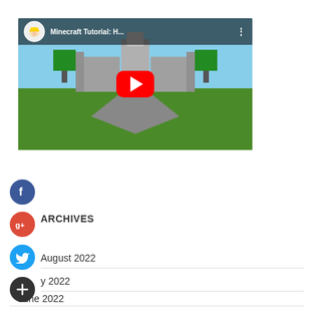[Figure (screenshot): YouTube video thumbnail showing a Minecraft Tutorial video with title 'Minecraft Tutorial: H...' with a play button overlay and a Minecraft building scene visible]
[Figure (illustration): Facebook share button - dark blue circle with white 'f' letter]
ARCHIVES
[Figure (illustration): Google+ share button - red circle with white 'g+' text]
August 2022
[Figure (illustration): Twitter share button - blue circle with white bird icon]
July 2022
[Figure (illustration): More/Add share button - dark circle with white plus icon]
June 2022